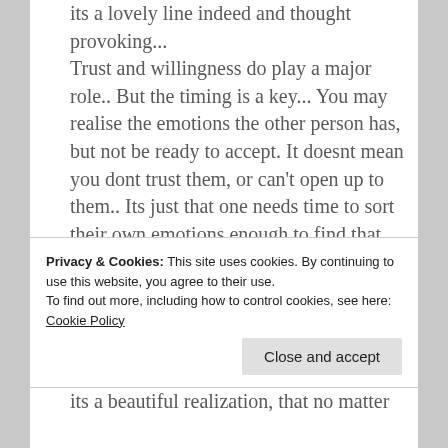its a lovely line indeed and thought provoking... Trust and willingness do play a major role.. But the timing is a key... You may realise the emotions the other person has, but not be ready to accept. It doesnt mean you dont trust them, or can't open up to them.. Its just that one needs time to sort their own emotions enough to find that opening within them.. To let love walk in again.. To accept that you are vulnerable, but willing to be vulnerable together with that...
Privacy & Cookies: This site uses cookies. By continuing to use this website, you agree to their use. To find out more, including how to control cookies, see here: Cookie Policy
its a beautiful realization, that no matter